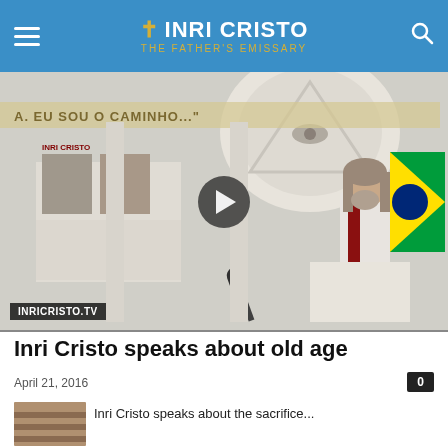INRI CRISTO — The Father's Emissary
[Figure (screenshot): Video thumbnail showing Inri Cristo speaking at a podium in a white robe with a red sash, in front of a decorative arch with an eye-in-triangle symbol. A banner reads 'EU SOU O CAMINHO...' and images of Jesus are displayed on the wall. The Brazilian flag is visible on the right. A play button overlay appears in the center. Label at bottom-left reads 'INRICRISTO.TV'.]
Inri Cristo speaks about old age
April 21, 2016
[Figure (photo): Small thumbnail image for the next article, showing a partial interior scene.]